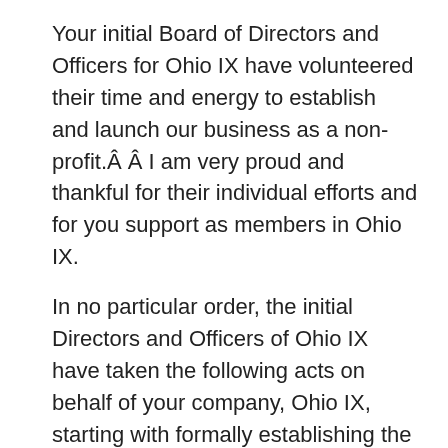Your initial Board of Directors and Officers for Ohio IX have volunteered their time and energy to establish and launch our business as a non-profit.Â Â  I am very proud and thankful for their individual efforts and for you support as members in Ohio IX.
In no particular order, the initial Directors and Officers of Ohio IX have taken the following acts on behalf of your company, Ohio IX, starting with formally establishing the company as a non-profit in late 2015 through April 2017
Declared the Company's official place of business as 555 Scherers Ct; Columbus, OH
Established and filed the Domestic Articles of incorporation: